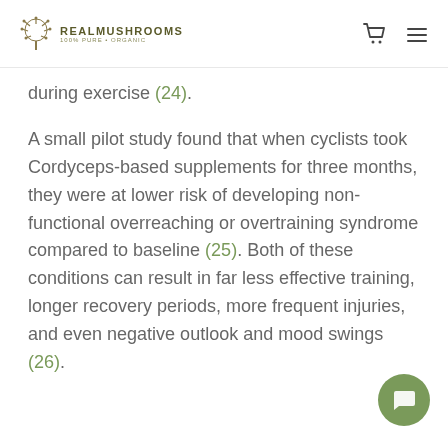REALMUSHROOMS — 100% PURE • ORGANIC
during exercise (24).
A small pilot study found that when cyclists took Cordyceps-based supplements for three months, they were at lower risk of developing non-functional overreaching or overtraining syndrome compared to baseline (25). Both of these conditions can result in far less effective training, longer recovery periods, more frequent injuries, and even negative outlook and mood swings (26).